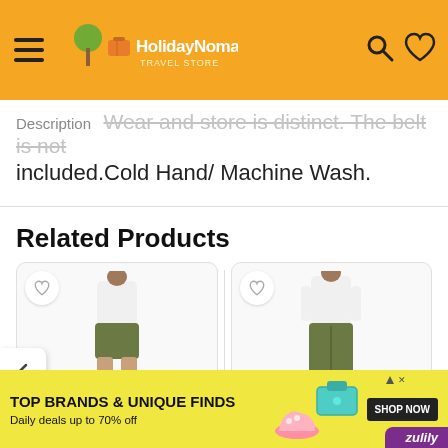HolidayNomad
Description  Wear and store is distinct. The belt is not included.Cold Hand/ Machine Wash.
Related Products
[Figure (photo): Two related product images: woman wearing olive/khaki shorts and woman wearing olive/khaki pants, each with a wishlist heart button]
[Figure (infographic): Advertisement banner: TOP BRANDS & UNIQUE FINDS - Daily deals up to 70% off - SHOP NOW - Zulily]